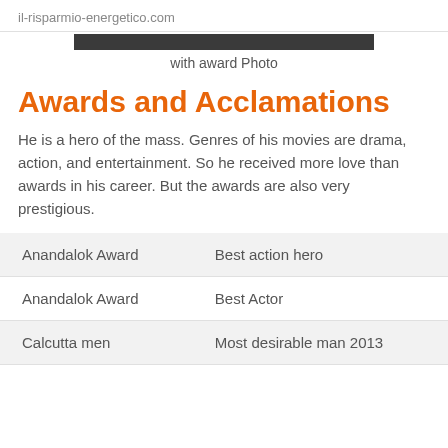il-risparmio-energetico.com
[Figure (photo): Partial photo strip at top of content area]
with award Photo
Awards and Acclamations
He is a hero of the mass. Genres of his movies are drama, action, and entertainment. So he received more love than awards in his career. But the awards are also very prestigious.
| Anandalok Award | Best action hero |
| Anandalok Award | Best Actor |
| Calcutta men | Most desirable man 2013 |